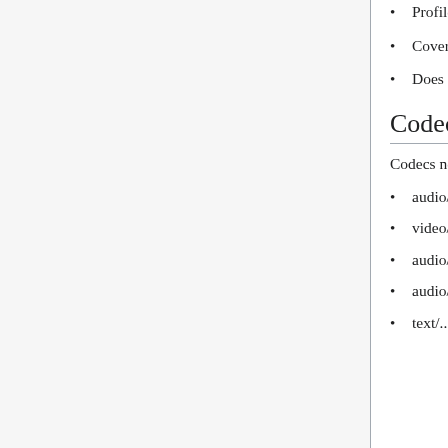Profile for XSPF
Covers XSPF, while being used through XML
Does not cover JSPF, which is XSPF but on JSON
Codec MIME types
Codecs need their own MIME types for streaming in RTP and to be used in multitrack ogg files using skeleton:
audio/vorbis for Vorbis without container
video/theora for Theora without container
audio/speex for Speex without container
audio/flac for FLAC without container, but extra FLAC Ogg header (?)
text/... for SMIL without...